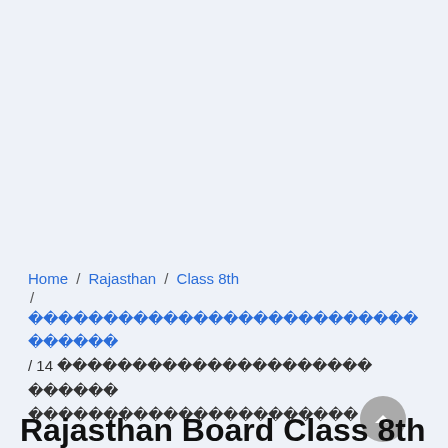Home / Rajasthan / Class 8th / ???????????????????????????? / 14 ????????????????????? ?????? ?????????????????????????????????
Rajasthan Board Class 8th